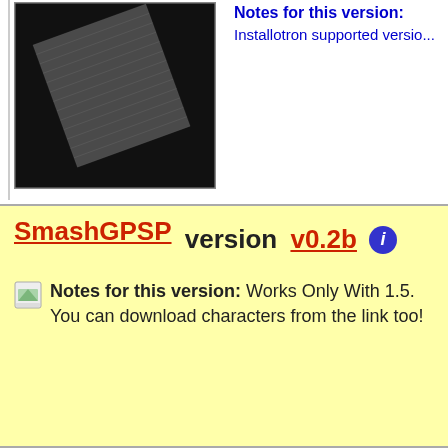[Figure (screenshot): Dark screenshot of a game or application, showing a gray card/rectangle on a black background]
Notes for this version: Installotron supported version
SmashGPSP version v0.2b
Notes for this version: Works Only With 1.5. You can download characters from the link too!
SMS version 0.4
Sega Master System / Game Gear emulator